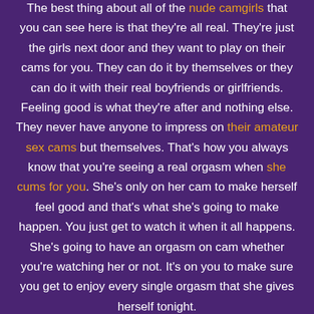The best thing about all of the nude camgirls that you can see here is that they're all real. They're just the girls next door and they want to play on their cams for you. They can do it by themselves or they can do it with their real boyfriends or girlfriends. Feeling good is what they're after and nothing else. They never have anyone to impress on their amateur sex cams but themselves. That's how you always know that you're seeing a real orgasm when she cums for you. She's only on her cam to make herself feel good and that's what she's going to make happen. You just get to watch it when it all happens. She's going to have an orgasm on cam whether you're watching her or not. It's on you to make sure you get to enjoy every single orgasm that she gives herself tonight.